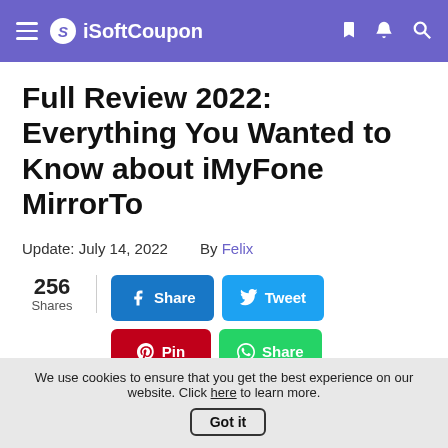iSoftCoupon
Full Review 2022: Everything You Wanted to Know about iMyFone MirrorTo
Update: July 14, 2022    By Felix
256 Shares | Share | Tweet | Pin | Share | Email
Home > Software Review > Full Review 2022:
We use cookies to ensure that you get the best experience on our website. Click here to learn more. Got it